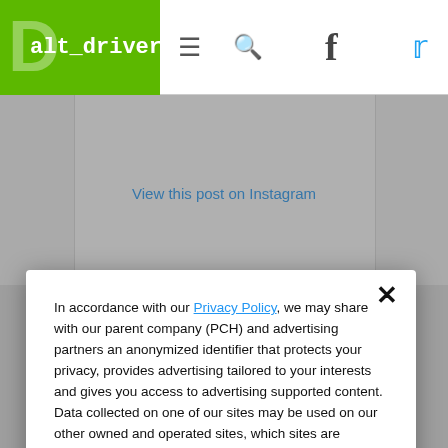alt_driver navigation bar with hamburger menu, search, Facebook, and Twitter icons
[Figure (screenshot): Instagram embed placeholder with 'View this post on Instagram' link]
In accordance with our Privacy Policy, we may share with our parent company (PCH) and advertising partners an anonymized identifier that protects your privacy, provides advertising tailored to your interests and gives you access to advertising supported content. Data collected on one of our sites may be used on our other owned and operated sites, which sites are identified in our Privacy Policy. All of our sites are governed by the same Privacy Policy, and by proceeding to access this site, you are consenting to that Privacy Policy.